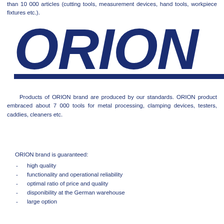than 10 000 articles (cutting tools, measurement devices, hand tools, workpiece fixtures etc.).
[Figure (logo): ORION brand logo in bold dark blue italic letters, partially cut off on the right side, with a dark blue underline stripe]
Products of ORION brand are produced by our standards. ORION product embraced about 7 000 tools for metal processing, clamping devices, testers, caddies, cleaners etc.
ORION brand is guaranteed:
high quality
functionality and operational reliability
optimal ratio of price and quality
disponibility at the German warehouse
large option